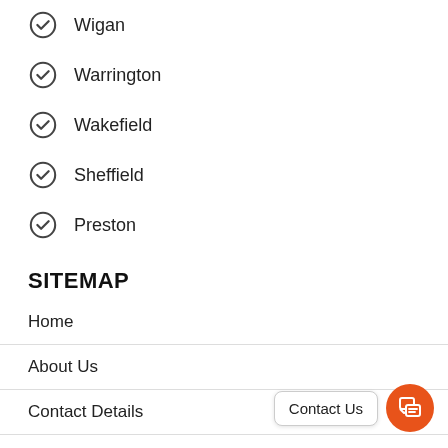Wigan
Warrington
Wakefield
Sheffield
Preston
SITEMAP
Home
About Us
Contact Details
Privacy Policy
Contact Us